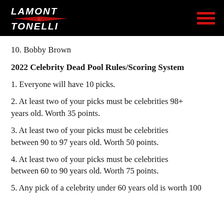LAMONT & TONELLI (logo)
10. Bobby Brown
2022 Celebrity Dead Pool Rules/Scoring System
1. Everyone will have 10 picks.
2. At least two of your picks must be celebrities 98+ years old. Worth 35 points.
3. At least two of your picks must be celebrities between 90 to 97 years old. Worth 50 points.
4. At least two of your picks must be celebrities between 60 to 90 years old. Worth 75 points.
5. Any pick of a celebrity under 60 years old is worth 100…